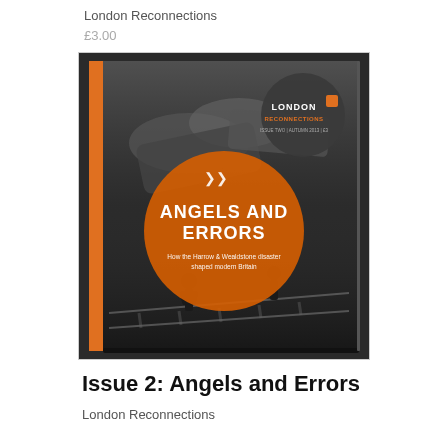London Reconnections
£3.00
[Figure (photo): Cover of London Reconnections Issue 2: Angels and Errors magazine, showing a black-and-white photograph of a train crash scene with people standing on tracks. An orange circle is overlaid with white text reading 'Angels and Errors – How the Harrow & Wealdstone disaster shaped modern Britain'. A dark grey circular badge in the upper right shows the London Reconnections logo.]
Issue 2: Angels and Errors
London Reconnections